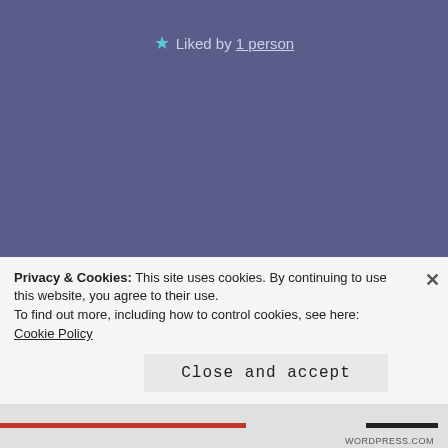★ Liked by 1 person
[Figure (photo): Circular avatar photo of Wendy Jane, a woman with dark hair, smiling, against a blurred indoor background]
Wendy Jane says:
March 3, 2016 at 4:23 pm
I need to listen to your words of wisdom that you found, too. You are brave and definitely spoke your truth when you blogged for WJSS, and I loved that you
Privacy & Cookies: This site uses cookies. By continuing to use this website, you agree to their use.
To find out more, including how to control cookies, see here: Cookie Policy
Close and accept